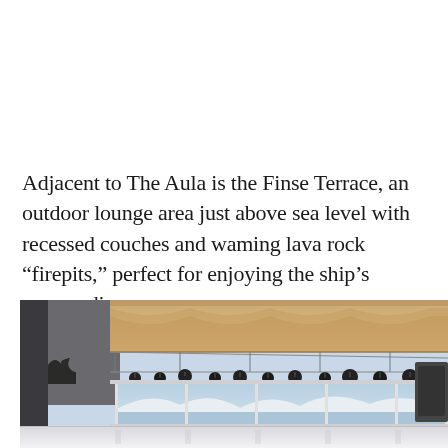Adjacent to The Aula is the Finse Terrace, an outdoor lounge area just above sea level with recessed couches and waming lava rock “firepits,” perfect for enjoying the ship’s surroundings.
[Figure (photo): Interior of a ship lounge or event space with wooden wave-pattern ceiling panels, suspended black spotlight fixtures, large panoramic windows showing snowy arctic scenery and blue water, and a white reflective floor.]